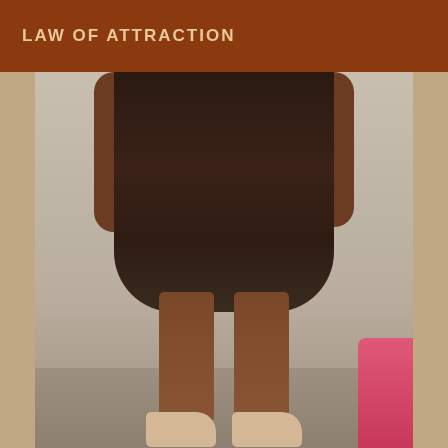LAW OF ATTRACTION
[Figure (photo): A person wearing a dark brown layered skirt and strappy heeled sandals, photographed from the waist down. The person's hands are at their sides. There is a pink chair visible at the bottom right. The background is a plain light-colored wall with a wooden floor visible at the bottom.]